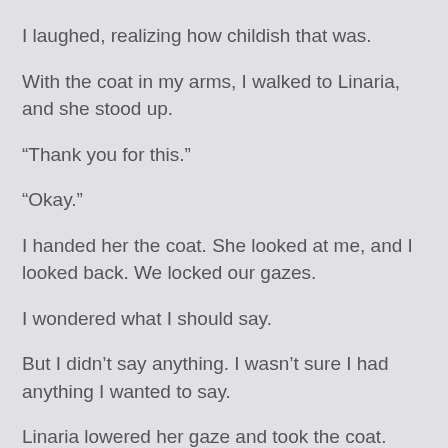I laughed, realizing how childish that was.
With the coat in my arms, I walked to Linaria, and she stood up.
“Thank you for this.”
“Okay.”
I handed her the coat. She looked at me, and I looked back. We locked our gazes.
I wondered what I should say.
But I didn’t say anything. I wasn’t sure I had anything I wanted to say.
Linaria lowered her gaze and took the coat.
“I will be setting off from the academy tomorrow, at 6pm in